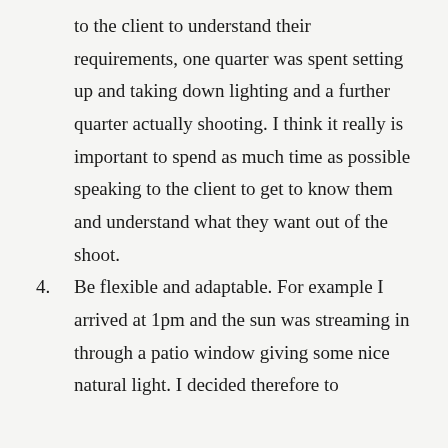to the client to understand their requirements, one quarter was spent setting up and taking down lighting and a further quarter actually shooting. I think it really is important to spend as much time as possible speaking to the client to get to know them and understand what they want out of the shoot.
4. Be flexible and adaptable. For example I arrived at 1pm and the sun was streaming in through a patio window giving some nice natural light. I decided therefore to